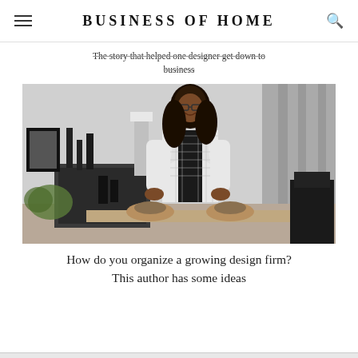BUSINESS OF HOME
The story that helped one designer get down to business
[Figure (photo): A woman in a white plaid blazer over a black top stands confidently with hands on hips in a styled interior space with dark decor, candles, lamps, and a dining table with decorative place settings.]
How do you organize a growing design firm? This author has some ideas